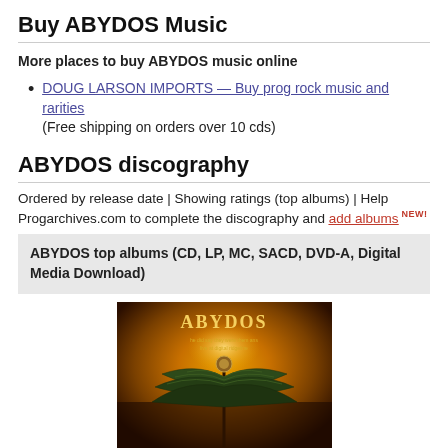Buy ABYDOS Music
More places to buy ABYDOS music online
DOUG LARSON IMPORTS — Buy prog rock music and rarities
(Free shipping on orders over 10 cds)
ABYDOS discography
Ordered by release date | Showing ratings (top albums) | Help Progarchives.com to complete the discography and add albums NEW
| ABYDOS top albums (CD, LP, MC, SACD, DVD-A, Digital Media Download) |
[Figure (photo): Album cover for an ABYDOS album showing a winged figure (angel/phoenix) in dark tones with golden background and the ABYDOS logo at top]